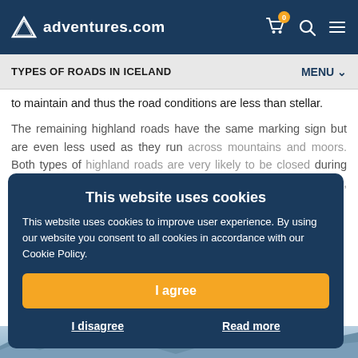adventures.com
TYPES OF ROADS IN ICELAND
to maintain and thus the road conditions are less than stellar.
The remaining highland roads have the same marking sign but are even less used as they run across mountains and moors. Both types of highland roads are very likely to be closed during the winter months and should only be driven with a 4x4 vehicle, regardless of the season.
This website uses cookies
This website uses cookies to improve user experience. By using our website you consent to all cookies in accordance with our Cookie Policy.
I agree
I disagree
Read more